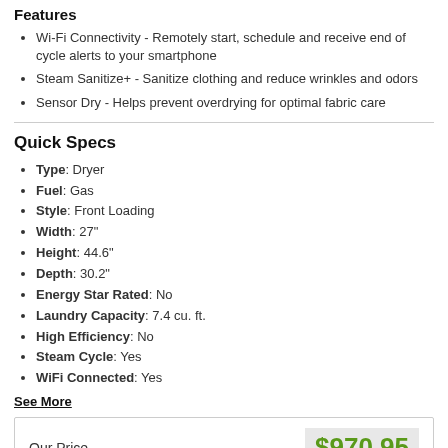Features
Wi-Fi Connectivity - Remotely start, schedule and receive end of cycle alerts to your smartphone
Steam Sanitize+ - Sanitize clothing and reduce wrinkles and odors
Sensor Dry - Helps prevent overdrying for optimal fabric care
Quick Specs
Type: Dryer
Fuel: Gas
Style: Front Loading
Width: 27"
Height: 44.6"
Depth: 30.2"
Energy Star Rated: No
Laundry Capacity: 7.4 cu. ft.
High Efficiency: No
Steam Cycle: Yes
WiFi Connected: Yes
See More
Our Price   $970.95